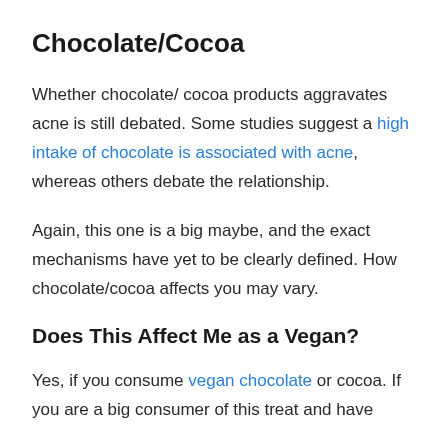Chocolate/Cocoa
Whether chocolate/ cocoa products aggravates acne is still debated. Some studies suggest a high intake of chocolate is associated with acne, whereas others debate the relationship.
Again, this one is a big maybe, and the exact mechanisms have yet to be clearly defined. How chocolate/cocoa affects you may vary.
Does This Affect Me as a Vegan?
Yes, if you consume vegan chocolate or cocoa. If you are a big consumer of this treat and have